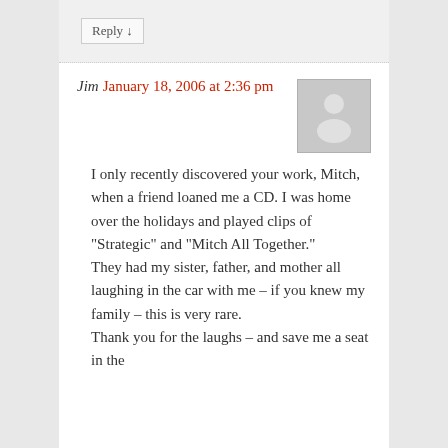Reply ↓
Jim January 18, 2006 at 2:36 pm
[Figure (illustration): Generic user avatar silhouette on grey background]
I only recently discovered your work, Mitch, when a friend loaned me a CD. I was home over the holidays and played clips of “Strategic” and “Mitch All Together.” They had my sister, father, and mother all laughing in the car with me – if you knew my family – this is very rare. Thank you for the laughs – and save me a seat in the